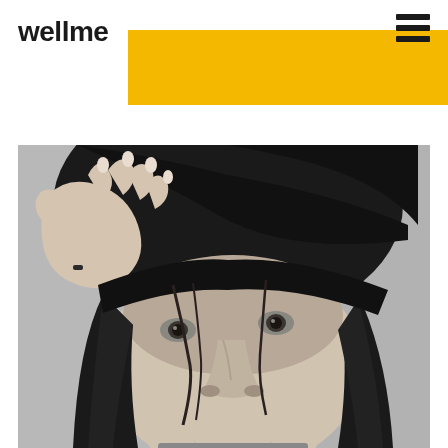wellme
[Figure (logo): Hamburger menu icon with three horizontal lines stacked, bold dark color]
[Figure (photo): Black and white photograph of a person looking upward with their hand holding a dark cap or beanie partially over their face/eyes, with long dark hair, against a light textured background]